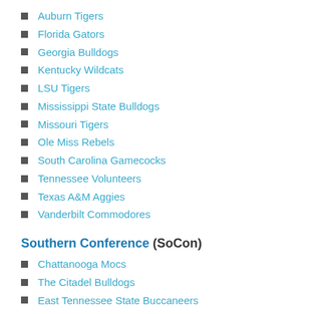Auburn Tigers
Florida Gators
Georgia Bulldogs
Kentucky Wildcats
LSU Tigers
Mississippi State Bulldogs
Missouri Tigers
Ole Miss Rebels
South Carolina Gamecocks
Tennessee Volunteers
Texas A&M Aggies
Vanderbilt Commodores
Southern Conference (SoCon)
Chattanooga Mocs
The Citadel Bulldogs
East Tennessee State Buccaneers
Furman Paladins
Mercer Bears
Samford Bulldogs